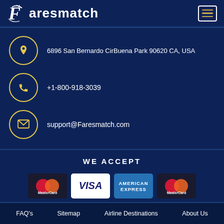Faresmatch
6896 San Bernardo CirBuena Park 90620 CA, USA
+1-800-918-3039
support@Faresmatch.com
WE ACCEPT
[Figure (logo): Payment method logos: MasterCard, Visa, American Express, MasterCard]
FAQ's  Sitemap  Airline Destinations  About Us